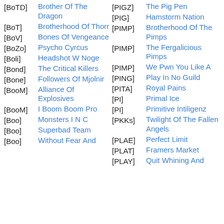[BoTD] Brother Of The Dragon
[BoT] Brotherhood Of Thorr
[BoV] Bones Of Vengeance
[BoZo] Psycho Cyrcus
[Boli] Headshot W Noge
[Bond] The Critical Killers
[Bone] Followers Of Mjolnir
[BooM] Alliance Of Explosives
[BooM] I Boom Boom Pro
[Boo] Monsters I N C
[Boo] Superbad Team
[Boo] Without Fear And
[PIGZ] The Pig Pen
[PIG] Hamstorm Nation
[PIMP] Brotherhood Of The Pimps
[PIMP] The Fergalicious Pimps
[PIMP] We Pwn You Like A
[PING] Play In No Guild
[PITA] Royal Pains
[PI] Primal Ice
[PI] Primitive Intiligenz
[PKKs] Twilight Of The Fallen Angels
[PLAE] Perfect Limit
[PLAT] Framers Market
[PLAY] Quit Whining And